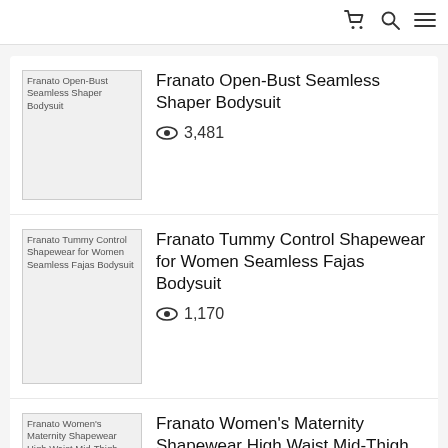navigation icons: cart, search, menu
Franato Open-Bust Seamless Shaper Bodysuit — 3,481 views
Franato Tummy Control Shapewear for Women Seamless Fajas Bodysuit — 1,170 views
Franato Women's Maternity Shapewear High Waist Mid-Thigh… — 875 views